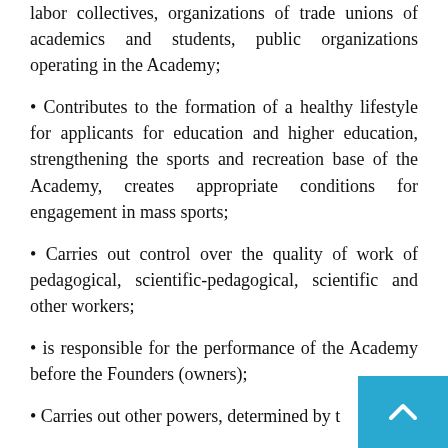labor collectives, organizations of trade unions of academics and students, public organizations operating in the Academy;
Contributes to the formation of a healthy lifestyle for applicants for education and higher education, strengthening the sports and recreation base of the Academy, creates appropriate conditions for engagement in mass sports;
Carries out control over the quality of work of pedagogical, scientific-pedagogical, scientific and other workers;
is responsible for the performance of the Academy before the Founders (owners);
Carries out other powers, determined by t…